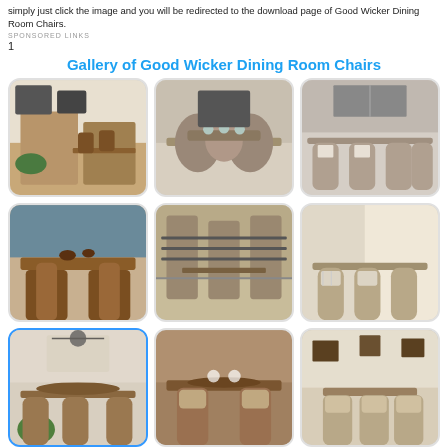simply just click the image and you will be redirected to the download page of Good Wicker Dining Room Chairs.
SPONSORED LINKS
1
Gallery of Good Wicker Dining Room Chairs
[Figure (photo): Dining room with wicker chairs and wooden table, bright natural light]
[Figure (photo): Dining room with rounded wicker chairs around a table, indoor plants]
[Figure (photo): Dining room with grey wicker chairs, chandelier, elegant table setting]
[Figure (photo): Wooden dining table with wicker chairs, close-up side view]
[Figure (photo): Dining room with wicker chairs and dark metal X-frame furniture]
[Figure (photo): Dining area with wicker chairs tied with bows, sunlit window]
[Figure (photo): Elegant dining room with wicker chairs and Christmas tree, chandelier, highlighted with blue border]
[Figure (photo): Close-up of wicker dining chairs around a wooden table]
[Figure (photo): Wicker armchairs around a square dining table, decorative items]